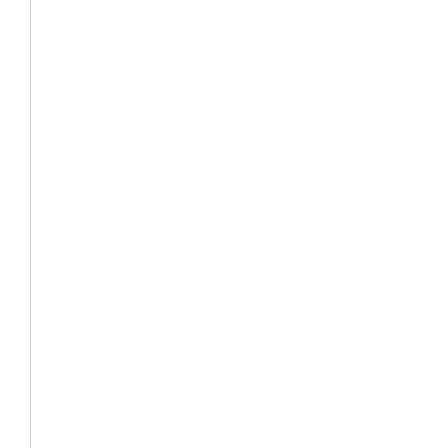QKRAA, QRRAA, or RRRAA) and disease severity in Caucasians in the early RA cohort (OR for erosions at 2 years 6.41, 95% CI 2.96 - 13..., p < 0.0001) but this was not seen in Maori and Polynesian ERA patients. A low-resolution ... the larger cohort (563 RA, 1022 healthy co... confirmed the HLA-DR4 association (OR 4..., CI 3.34 - 5.40, p < 0.0001), validating the collections. We found a significant protecti... of the common non-functional CCR5 Δ32 v... RA prevalence (RA heterozygotes 17%, he... controls 11%, p = 0.007; no Δ32 homozyge... patients detected), but with CCR5 (and the non-HLA genes examined) there was no i... RA severity. The HUMCTLA-4A position +4... allele (associated with reduced CTLA-4 do... regulatory function on T-cells) was assess... PCR-RFLP and was significantly higher in patients than in controls (p = 0.0003), cons... with a genetic contribution from impaired T immunoregulation. An association between VNDR microsatellite in intron A of the gene...